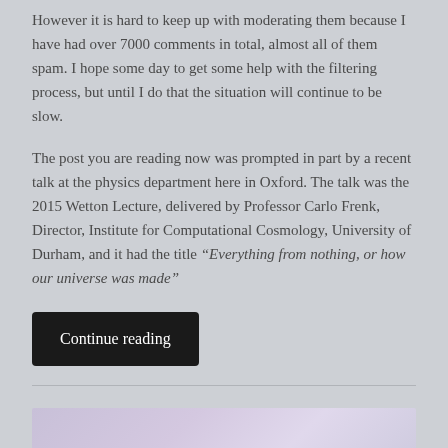However it is hard to keep up with moderating them because I have had over 7000 comments in total, almost all of them spam. I hope some day to get some help with the filtering process, but until I do that the situation will continue to be slow.
The post you are reading now was prompted in part by a recent talk at the physics department here in Oxford. The talk was the 2015 Wetton Lecture, delivered by Professor Carlo Frenk, Director, Institute for Computational Cosmology, University of Durham, and it had the title “Everything from nothing, or how our universe was made”
Continue reading
[Figure (illustration): Partial view of an image at the bottom of the page, appears to be a light purple/lavender colored illustration or photo, cropped at page edge]